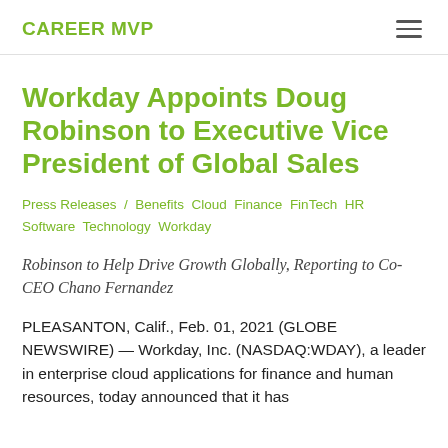CAREER MVP
Workday Appoints Doug Robinson to Executive Vice President of Global Sales
Press Releases / Benefits Cloud Finance FinTech HR Software Technology Workday
Robinson to Help Drive Growth Globally, Reporting to Co-CEO Chano Fernandez
PLEASANTON, Calif., Feb. 01, 2021 (GLOBE NEWSWIRE) — Workday, Inc. (NASDAQ:WDAY), a leader in enterprise cloud applications for finance and human resources, today announced that it has